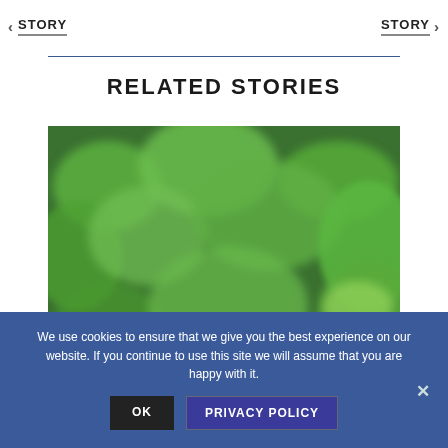< STORY    STORY >
RELATED STORIES
[Figure (photo): A blurred outdoor photo showing lush green foliage with a dark-haired figure partially visible at the bottom center of the frame.]
We use cookies to ensure that we give you the best experience on our website. If you continue to use this site we will assume that you are happy with it.
OK   PRIVACY POLICY